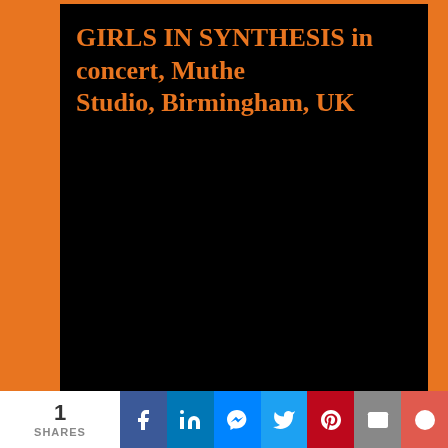GIRLS IN SYNTHESIS in concert, Muthers Studio, Birmingham, UK
[Figure (other): Black card area with orange title text reading 'GIRLS IN SYNTHESIS in concert, Muthers Studio, Birmingham, UK']
Modern Literature in concert, Muthers Studio, Birmingham, UK
[Figure (other): Black card area with orange title text reading 'Modern Literature in concert, Muthers Studio, Birmingham, UK']
Knife Crime in concert, Muthers Studio
[Figure (other): Black card area partially visible with orange title text reading 'Knife Crime in concert, Muthers Studio']
1 SHARES | Facebook | LinkedIn | Messenger | Twitter | Pinterest | Email | More